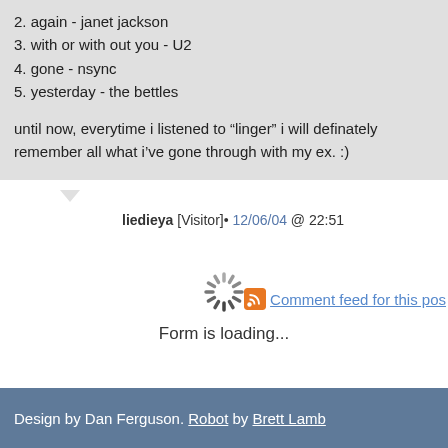2. again - janet jackson
3. with or with out you - U2
4. gone - nsync
5. yesterday - the bettles
until now, everytime i listened to “linger” i will definately remember all what i’ve gone through with my ex. :)
liedieya [Visitor]• 12/06/04 @ 22:51
[Figure (other): Spinning loading indicator graphic]
Form is loading...
Comment feed for this post
Design by Dan Ferguson. Robot by Brett Lamb